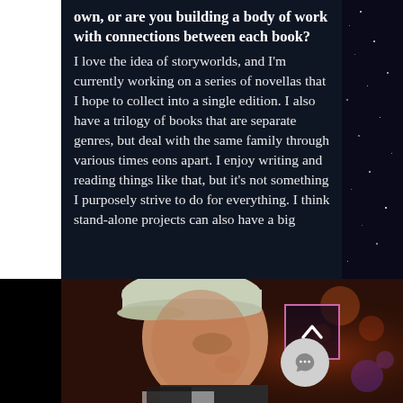own, or are you building a body of work with connections between each book? I love the idea of storyworlds, and I'm currently working on a series of novellas that I hope to collect into a single edition. I also have a trilogy of books that are separate genres, but deal with the same family through various times eons apart. I enjoy writing and reading things like that, but it's not something I purposely strive to do for everything. I think stand-alone projects can also have a big
[Figure (photo): Close-up photo of a young person wearing a flat cap/newsboy hat, looking downward, in a warmly-lit environment with bokeh lights in background. A scroll-up arrow button and a chat bubble button are overlaid on the lower right of the image.]